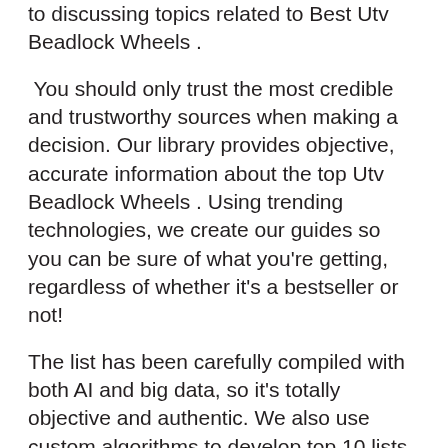to discussing topics related to Best Utv Beadlock Wheels .
You should only trust the most credible and trustworthy sources when making a decision. Our library provides objective, accurate information about the top Utv Beadlock Wheels . Using trending technologies, we create our guides so you can be sure of what you're getting, regardless of whether it's a bestseller or not!
The list has been carefully compiled with both AI and big data, so it's totally objective and authentic. We also use custom algorithms to develop top 10 lists for each category. There are many more options on offer than just these two at the moment,